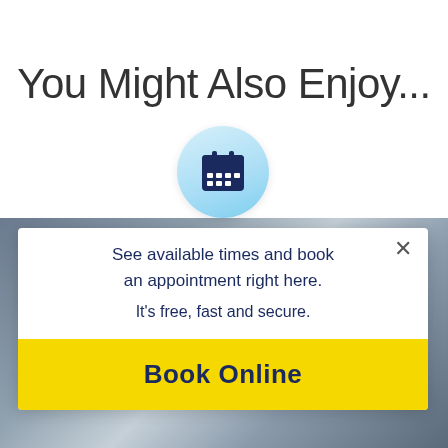You Might Also Enjoy...
[Figure (screenshot): White modal card with a calendar icon in a light blue circle at top, a close X button top-right, body text about booking appointments, and a yellow 'Book Online' button. Background shows a blurred medical/doctor image.]
See available times and book an appointment right here. It's free, fast and secure.
Book Online